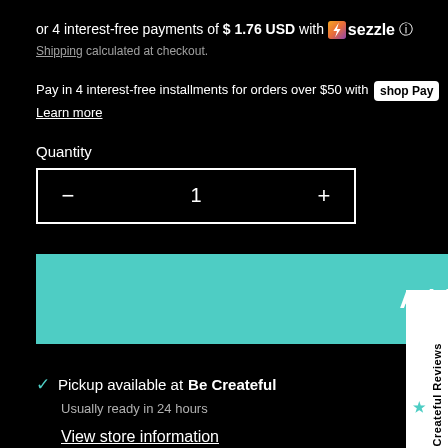or 4 interest-free payments of $ 1.76 USD with Sezzle
Shipping calculated at checkout.
Pay in 4 interest-free installments for orders over $50 with shop Pay
Learn more
Quantity
Add to cart
Pickup available at Be Createful
Usually ready in 24 hours
View store information
White Multi-Sized Rhinestones packaging
Be Createful Reviews